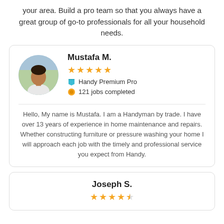your area. Build a pro team so that you always have a great group of go-to professionals for all your household needs.
[Figure (other): Profile card for Mustafa M. showing circular portrait photo, 5-star rating, Handy Premium Pro badge, 121 jobs completed, and bio text: Hello, My name is Mustafa. I am a Handyman by trade. I have over 13 years of experience in home maintenance and repairs. Whether constructing furniture or pressure washing your home I will approach each job with the timely and professional service you expect from Handy.]
[Figure (other): Partial profile card for Joseph S. showing name and 4.5-star rating.]